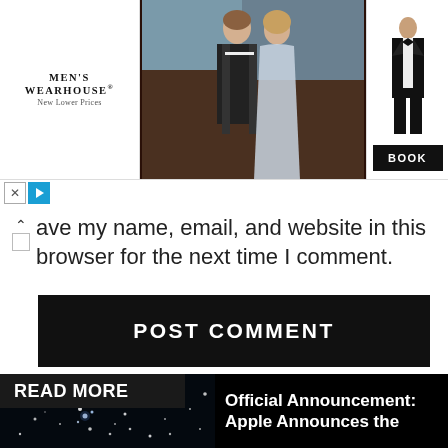[Figure (photo): Men's Wearhouse advertisement banner showing a couple in formalwear, a man in a tuxedo, and a BOOK button]
ave my name, email, and website in this browser for the next time I comment.
POST COMMENT
READ MORE
[Figure (photo): Dark space/stars photo]
Official Announcement: Apple Announces the